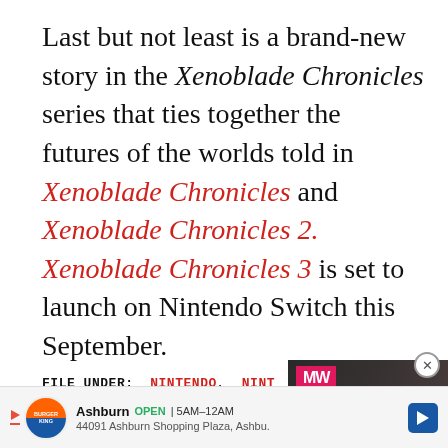Last but not least is a brand-new story in the Xenoblade Chronicles series that ties together the futures of the worlds told in Xenoblade Chronicles and Xenoblade Chronicles 2. Xenoblade Chronicles 3 is set to launch on Nintendo Switch this September.
FILE UNDER: NINTENDO, NINTENDO SWITCH
[Figure (screenshot): Video advertisement overlay for 'Scorn Release Date' from MXDWN (MW logo), showing a dark crouching figure with pink/red branding text on a dark background, with a play button.]
[Figure (infographic): Burger King advertisement banner showing BK logo, Ashburn location, OPEN 5AM-12AM, address 44091 Ashburn Shopping Plaza, Ashbu., with a blue navigation arrow icon.]